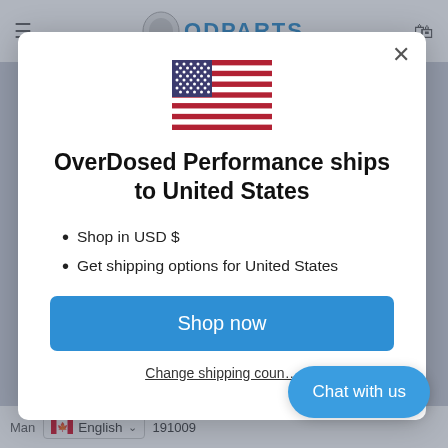[Figure (screenshot): ODPARTS website header with logo and navigation icons]
[Figure (illustration): US flag emoji/illustration shown in modal dialog]
OverDosed Performance ships to United States
Shop in USD $
Get shipping options for United States
Shop now
Change shipping country
Chat with us
Man English 191009